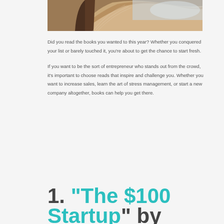[Figure (photo): Close-up photo of an open book with fanned pages, warm brown tones with light blue background]
Did you read the books you wanted to this year? Whether you conquered your list or barely touched it, you’re about to get the chance to start fresh.
If you want to be the sort of entrepreneur who stands out from the crowd, it’s important to choose reads that inspire and challenge you. Whether you want to increase sales, learn the art of stress management, or start a new company altogether, books can help you get there.
1. “The $100 Startup” by